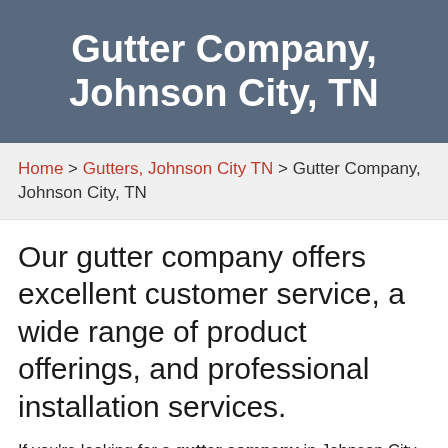Gutter Company, Johnson City, TN
Home > Gutters, Johnson City TN > Gutter Company, Johnson City, TN
Our gutter company offers excellent customer service, a wide range of product offerings, and professional installation services.
If you're looking for a gutter company in Johnson City, Tennessee, 31-W Insulation has you covered. We offer and install durable seamless gutters that are the perfect replacement to